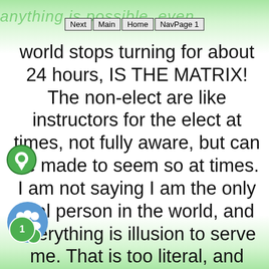anything is possible, even the
Next | Main | Home | NavPage 1
world stops turning for about 24 hours, IS THE MATRIX! The non-elect are like instructors for the elect at times, not fully aware, but can be made to seem so at times. I am not saying I am the only real person in the world, and everything is illusion to serve me. That is too literal, and very unspiritual. There are overlapping realities, sort of like